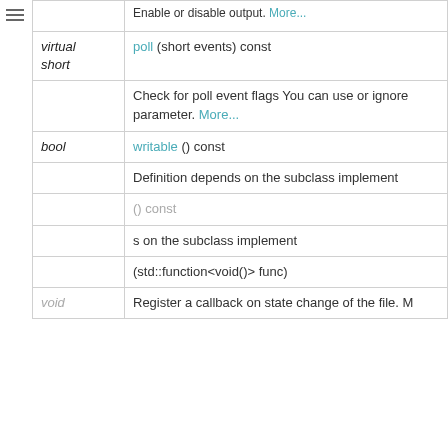| Type | Function |
| --- | --- |
|  | Enable or disable output. More... |
| virtual short | poll (short events) const |
|  | Check for poll event flags You can use or ignore parameter. More... |
| bool | writable () const |
|  | Definition depends on the subclass implement |
|  | () const |
|  | Definition depends on the subclass implement |
|  | (std::function<void()> func) |
| void | Register a callback on state change of the file. M |
[Figure (other): Cookie consent popup overlay: 'Important Information for this Arm website'. Text: This site uses cookies to store information on your computer. By continuing to use our site, you consent to our cookies. If you are not happy with the use of these cookies, please review our Cookie Policy to learn how they can be disabled. By disabling cookies, some features of the site will not work. Button: Accept and hide this message.]